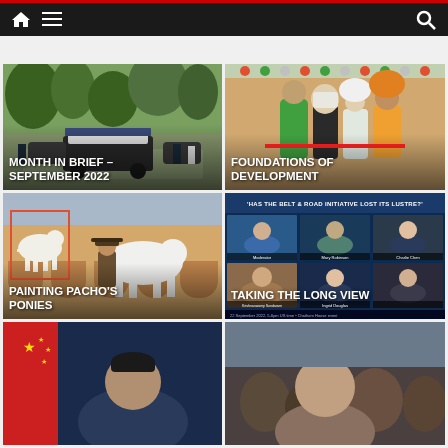Navigation bar with home, menu, and search icons
[Figure (photo): Funeral procession with flag-draped casket on horse-drawn carriage, flanked by military personnel in green foliage setting]
MONTH IN BRIEF – SEPTEMBER 2022
[Figure (photo): Group of people including Sikh individuals in traditional dress at a ribbon-cutting or development event with colorful decorations]
FOUNDATIONS OF DEVELOPMENT
[Figure (photo): Person in hat standing with white horses in front of arched building, with illustrated horse overlay]
PAINTING PACHO'S PONIES
[Figure (screenshot): Webinar screenshot with title 'HAS THE BELT & ROAD INITIATIVE LOST ITS LUSTRE?' showing multiple video participants in grid layout]
TAKING THE LONG VIEW
[Figure (photo): Partial view of person with Chinese flag in background]
[Figure (photo): Partial view of crowd with person in foreground]